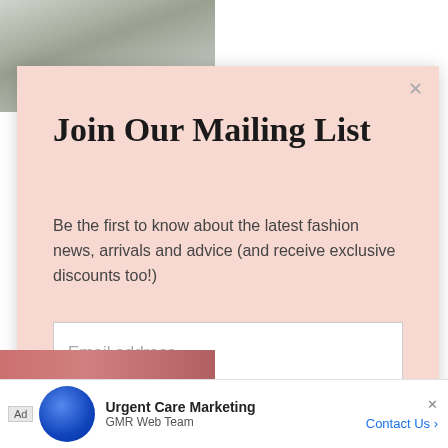[Figure (photo): Photo of person in grey/olive coat holding a bag, partially visible at top left]
Join Our Mailing List
Be the first to know about the latest fashion news, arrivals and advice (and receive exclusive discounts too!)
Email address
Subscribe
Ad  Urgent Care Marketing  GMR Web Team  Contact Us >